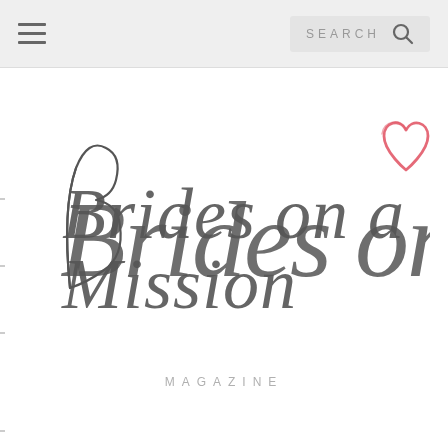SEARCH
[Figure (logo): Brides on a Mission magazine logo — handwritten/script style text with a hand-drawn pink heart outline]
MAGAZINE